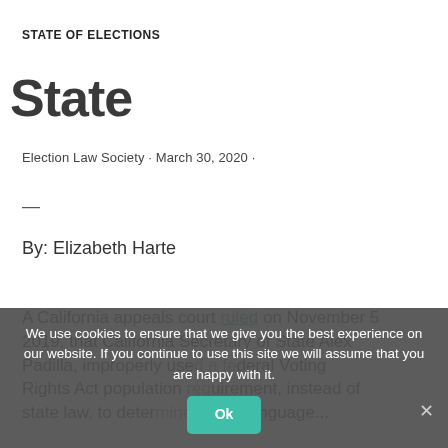STATE OF ELECTIONS
State
Election Law Society · March 30, 2020 ·
—
By: Elizabeth Harte
A California appeals court ruled on November 5 2019, that California Secretary of State Alex Padilla, improperly used a federal Voting Rights Act population requirement, instead of state law, to determine which language...